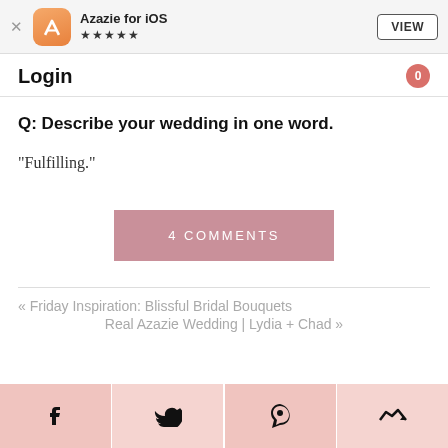Azazie for iOS ★★★★★
Login
Q: Describe your wedding in one word.
“Fulfilling.”
4 COMMENTS
« Friday Inspiration: Blissful Bridal Bouquets
Real Azazie Wedding | Lydia + Chad »